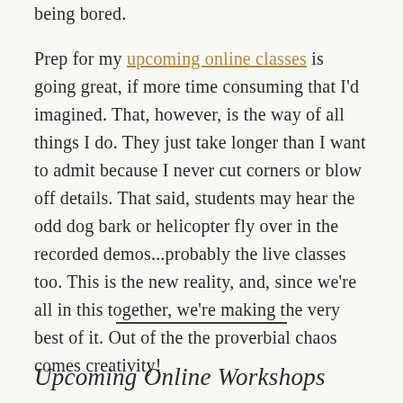being bored.
Prep for my upcoming online classes is going great, if more time consuming that I'd imagined. That, however, is the way of all things I do. They just take longer than I want to admit because I never cut corners or blow off details. That said, students may hear the odd dog bark or helicopter fly over in the recorded demos...probably the live classes too. This is the new reality, and, since we're all in this together, we're making the very best of it. Out of the the proverbial chaos comes creativity!
Upcoming Online Workshops